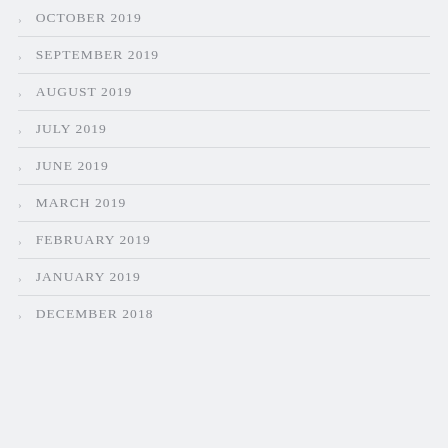OCTOBER 2019
SEPTEMBER 2019
AUGUST 2019
JULY 2019
JUNE 2019
MARCH 2019
FEBRUARY 2019
JANUARY 2019
DECEMBER 2018